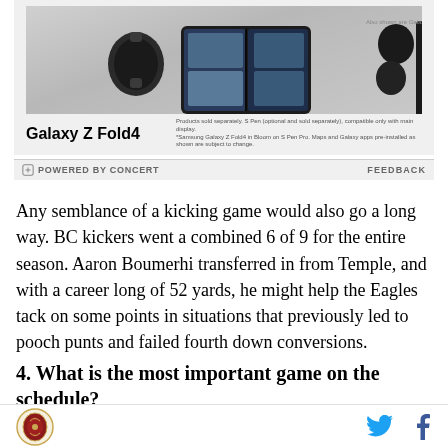[Figure (photo): Samsung Galaxy Z Fold4 advertisement banner showing a smartwatch, foldable phone, earbuds, and stylus pen on a gray background with product name 'Galaxy Z Fold4' and disclaimer text. Powered by Concert / Feedback label bar at bottom.]
Any semblance of a kicking game would also go a long way. BC kickers went a combined 6 of 9 for the entire season. Aaron Boumerhi transferred in from Temple, and with a career long of 52 yards, he might help the Eagles tack on some points in situations that previously led to pooch punts and failed fourth down conversions.
4. What is the most important game on the schedule?